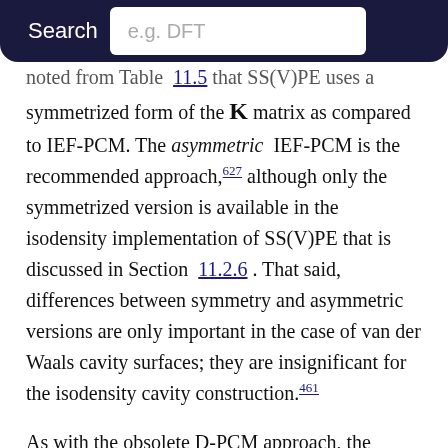Search  e.g. DFT
noted from Table 11.5 that SS(V)PE uses a symmetrized form of the K matrix as compared to IEF-PCM. The asymmetric IEF-PCM is the recommended approach,627 although only the symmetrized version is available in the isodensity implementation of SS(V)PE that is discussed in Section 11.2.6. That said, differences between symmetry and asymmetric versions are only important in the case of van der Waals cavity surfaces; they are insignificant for the isodensity cavity construction.461
As with the obsolete D-PCM approach, the original version of IEF-PCM explicitly required evaluation of the normal electric field at the cavity surface, but it was later shown that this dependence could be